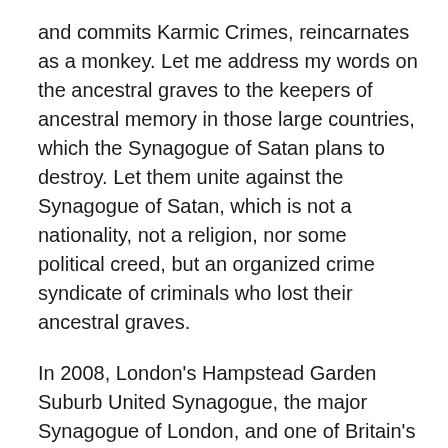and commits Karmic Crimes, reincarnates as a monkey. Let me address my words on the ancestral graves to the keepers of ancestral memory in those large countries, which the Synagogue of Satan plans to destroy. Let them unite against the Synagogue of Satan, which is not a nationality, not a religion, nor some political creed, but an organized crime syndicate of criminals who lost their ancestral graves.
In 2008, London's Hampstead Garden Suburb United Synagogue, the major Synagogue of London, and one of Britain's biggest Synagogue, has forbidden the teaching of Tanya, the Ideological Manifesto of Chabad. The Tanya is an 18th-century religious commentary on Tanakh written by the founder of Lubavitch Chassidism, Rabbi Shneur Zalman of Liadi. This is how far into history reaches the